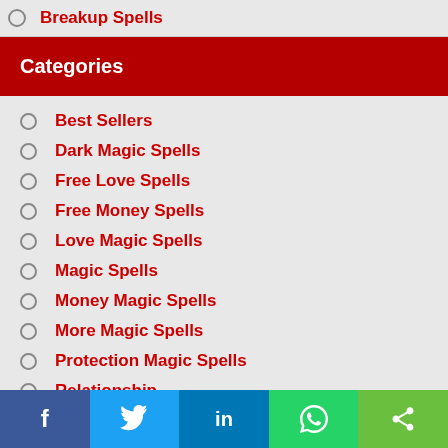Breakup Spells
Categories
Best Sellers
Dark Magic Spells
Free Love Spells
Free Money Spells
Love Magic Spells
Magic Spells
Money Magic Spells
More Magic Spells
Protection Magic Spells
Relationship
Categories